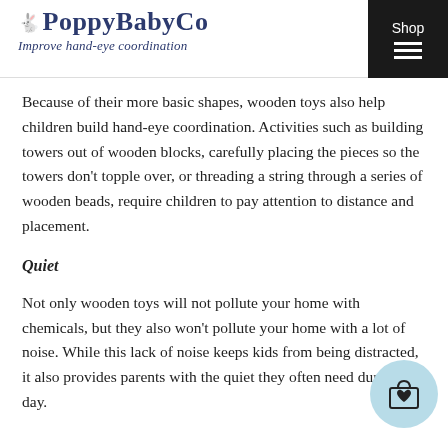PoppyBabyCo — Improve hand-eye coordination
Because of their more basic shapes, wooden toys also help children build hand-eye coordination. Activities such as building towers out of wooden blocks, carefully placing the pieces so the towers don't topple over, or threading a string through a series of wooden beads, require children to pay attention to distance and placement.
Quiet
Not only wooden toys will not pollute your home with chemicals, but they also won't pollute your home with a lot of noise. While this lack of noise keeps kids from being distracted, it also provides parents with the quiet they often need during the day.